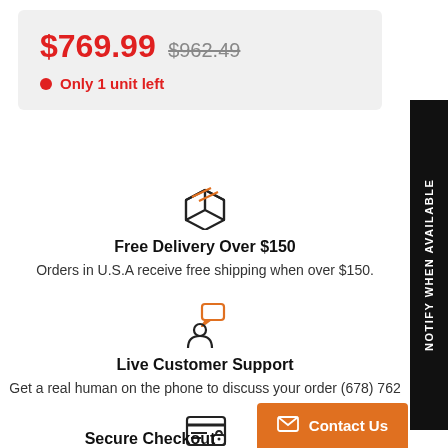$769.99  $962.49
Only 1 unit left
[Figure (illustration): Box/package icon representing delivery]
Free Delivery Over $150
Orders in U.S.A receive free shipping when over $150.
[Figure (illustration): Person with speech bubble icon representing customer support]
Live Customer Support
Get a real human on the phone to discuss your order (678) 762
[Figure (illustration): Credit card with lock icon representing secure checkout]
Secure Checkout